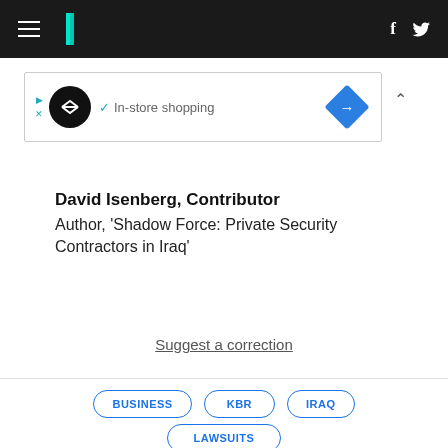HuffPost navigation with hamburger menu, logo, facebook and twitter icons
[Figure (other): Advertisement banner with logo, checkmark, 'In-store shopping' text, navigation diamond icon, and collapse caret]
David Isenberg, Contributor
Author, 'Shadow Force: Private Security Contractors in Iraq'
Suggest a correction
BUSINESS
KBR
IRAQ
LAWSUITS